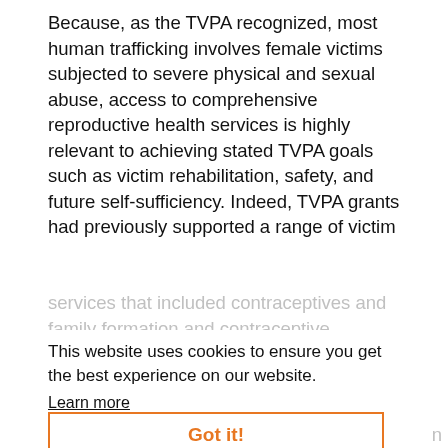Because, as the TVPA recognized, most human trafficking involves female victims subjected to severe physical and sexual abuse, access to comprehensive reproductive health services is highly relevant to achieving stated TVPA goals such as victim rehabilitation, safety, and future self-sufficiency. Indeed, TVPA grants had previously supported a range of victim services that included contraceptives and family formation and contraceptive...
This website uses cookies to ensure you get the best experience on our website.
Learn more
Got it!